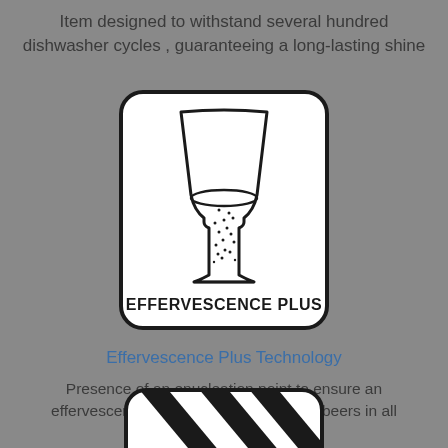Item designed to withstand several hundred dishwasher cycles , guaranteeing a long-lasting shine
[Figure (logo): Effervescence Plus logo: a champagne flute with bubbles inside, inside a rounded rectangle, with text EFFERVESCENCE PLUS at the bottom]
Effervescence Plus Technology
Presence of an enucleation point to ensure an effervescence effect of champagnes or beers in all circumstances.
[Figure (logo): Partially visible rounded rectangle with diagonal black stripes, bottom of page]